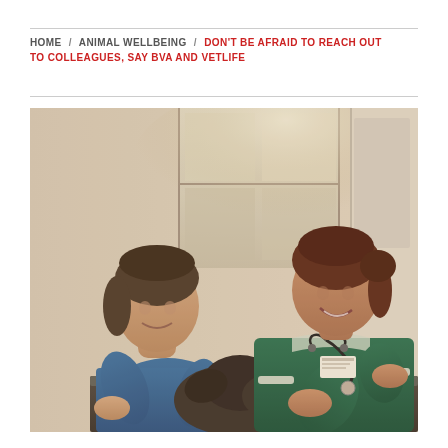HOME / ANIMAL WELLBEING / DON'T BE AFRAID TO REACH OUT TO COLLEAGUES, SAY BVA AND VETLIFE
[Figure (photo): Two female veterinary professionals in a clinic. One wearing blue scrubs holds a dark-colored dog on an examination table while the other, wearing a green veterinary nurse uniform with white trim and a stethoscope, smiles and examines the animal.]